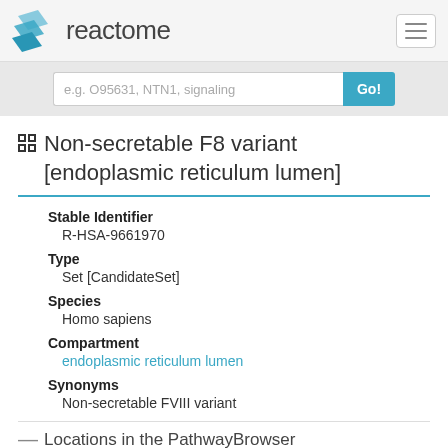reactome
Non-secretable F8 variant [endoplasmic reticulum lumen]
Stable Identifier
R-HSA-9661970
Type
Set [CandidateSet]
Species
Homo sapiens
Compartment
endoplasmic reticulum lumen
Synonyms
Non-secretable FVIII variant
Locations in the PathwayBrowser